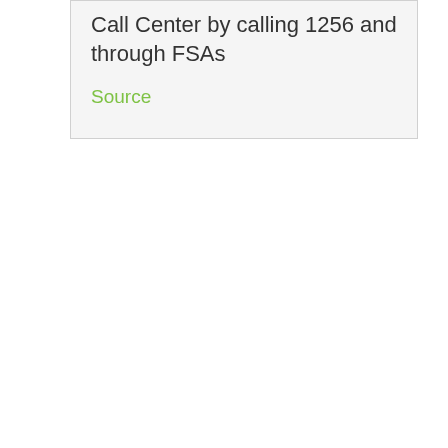Call Center by calling 1256 and through FSAs
Source